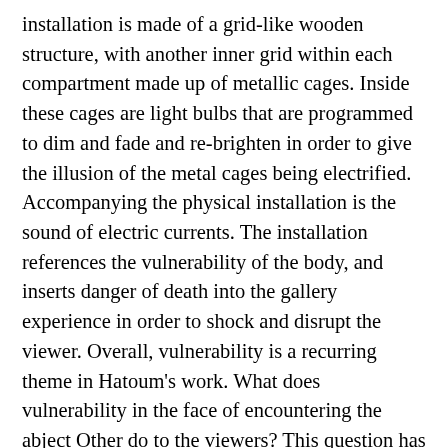installation is made of a grid-like wooden structure, with another inner grid within each compartment made up of metallic cages. Inside these cages are light bulbs that are programmed to dim and fade and re-brighten in order to give the illusion of the metal cages being electrified. Accompanying the physical installation is the sound of electric currents. The installation references the vulnerability of the body, and inserts danger of death into the gallery experience in order to shock and disrupt the viewer. Overall, vulnerability is a recurring theme in Hatoum's work. What does vulnerability in the face of encountering the abject Other do to the viewers? This question has no single answer, for it certainly differs between one person and another. Not only would the answer depend on the affected moment of encounter with the work, but also the positioning of the viewer her/himself. Can